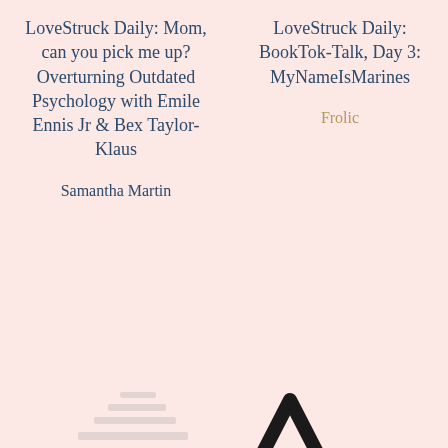LoveStruck Daily: Mom, can you pick me up? Overturning Outdated Psychology with Emile Ennis Jr & Bex Taylor-Klaus
LoveStruck Daily: BookTok-Talk, Day 3: MyNameIsMarines
Samantha Martin
Frolic
[Figure (illustration): Decorative stacked horizontal lines forming a pyramid/tree shape in light gray, and a bold black triangle outline in the center, plus a small gold/tan triangle to the right, on a pink background.]
Manage Cookie Consent
We use cookies to optimize our website and our service.
Accept
Cookie Policy   Privacy statement